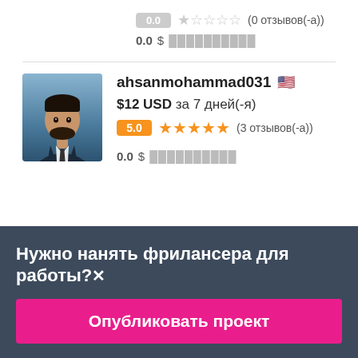0.0 ★☆☆☆☆ (0 отзывов(-а))
0.0 $ ██████████
[Figure (photo): Profile photo of ahsanmohammad031, a man in a suit]
ahsanmohammad031 🇺🇸
$12 USD за 7 дней(-я)
5.0 ★★★★★ (3 отзывов(-а))
0.0 $ ██████████
Нужно нанять фрилансера для работы?✕
Опубликовать проект